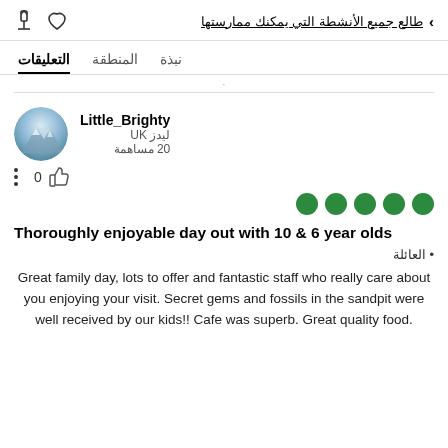طالع جميع الأنشطة التي يمكنك ممارستها
نبذة  المنطقة  التعليقات
Little_Brighty
ليدز UK
20 مساهمة
0
Thoroughly enjoyable day out with 10 & 6 year olds
• العائلة
Great family day, lots to offer and fantastic staff who really care about you enjoying your visit. Secret gems and fossils in the sandpit were well received by our kids!! Cafe was superb. Great quality food.